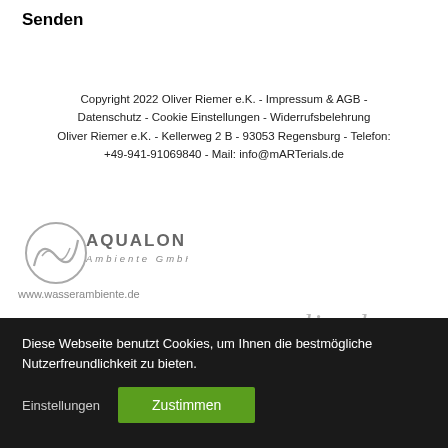Senden
Copyright 2022 Oliver Riemer e.K. - Impressum & AGB - Datenschutz - Cookie Einstellungen - Widerrufsbelehrung
Oliver Riemer e.K. - Kellerweg 2 B - 93053 Regensburg - Telefon: +49-941-91069840 - Mail: info@mARTerials.de
[Figure (logo): Aqualon Ambiente GmbH logo with text www.wasserambiente.de]
[Figure (logo): Italic script text reading 'acrylic elegance' in grey]
Diese Webseite benutzt Cookies, um Ihnen die bestmögliche Nutzerfreundlichkeit zu bieten.
Einstellungen
Zustimmen